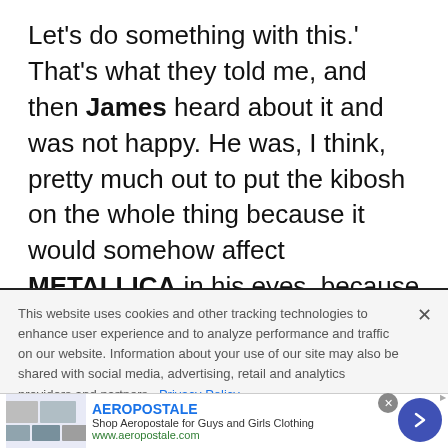Let's do something with this.' That's what they told me, and then James heard about it and was not happy. He was, I think, pretty much out to put the kibosh on the whole thing because it would somehow affect METALLICA in his eyes, because now the managers were interested in something I was doing that had nothing to do with him."
This website uses cookies and other tracking technologies to enhance user experience and to analyze performance and traffic on our website. Information about your use of our site may also be shared with social media, advertising, retail and analytics providers and partners. Privacy Policy
[Figure (screenshot): AEROPOSTALE advertisement banner with logo, text 'Shop Aeropostale for Guys and Girls Clothing', URL www.aeropostale.com, thumbnail images, and a blue arrow button]